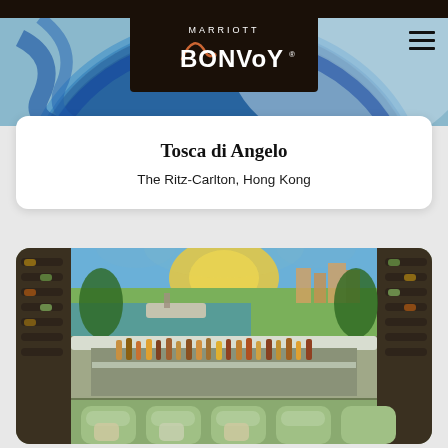[Figure (photo): Top portion of a blue decorative plate or bowl, partially visible, with artistic patterns]
[Figure (logo): Marriott Bonvoy logo — white text on dark brown/black background with an orange swoosh accent mark]
Tosca di Angelo
The Ritz-Carlton, Hong Kong
[Figure (photo): Interior of a restaurant bar with colorful Mediterranean mosaic mural on the wall, a marble and glass bar counter lined with bottles, green velvet seating, wine racks on the sides, and tropical plants]